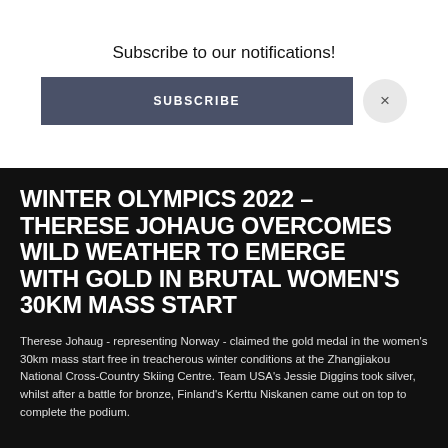Subscribe to our notifications!
SUBSCRIBE
WINTER OLYMPICS 2022 – THERESE JOHAUG OVERCOMES WILD WEATHER TO EMERGE WITH GOLD IN BRUTAL WOMEN'S 30KM MASS START
Therese Johaug - representing Norway - claimed the gold medal in the women's 30km mass start free in treacherous winter conditions at the Zhangjiakou National Cross-Country Skiing Centre. Team USA's Jessie Diggins took silver, whilst after a battle for bronze, Finland's Kerttu Niskanen came out on top to complete the podium.